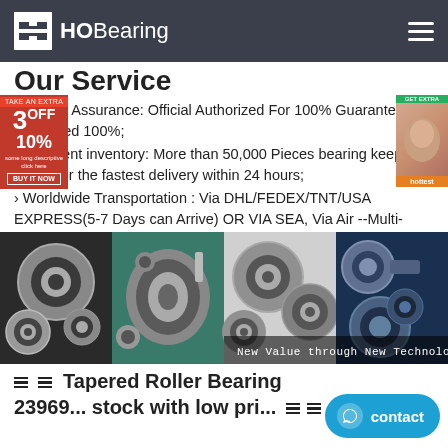HOBearing
Our Service
› Quality Assurance: Official Authorized For 100% Guaranteed As Described 100%;
› Sufficient inventory: More than 50,000 Pieces bearing keep in stock For the fastest delivery within 24 hours;
› Worldwide Transportation : Via DHL/FEDEX/TNT/USA EXPRESS(5-7 Days can Arrive) OR VIA SEA, Via Air --Multi-Shiping Way for your choice;
› Service:One-to-one 7*24 Hours Full-time Online Talk & Quick Inquiry Reply Within 10 Minutes.
[Figure (photo): Four panel collage of various industrial bearings: ball bearings, tapered roller bearings, and rod end bearings, with text overlay 'New Value through New Technology']
≡≡ Tapered Roller Bearing 23969... stock with low pri... ≡≡